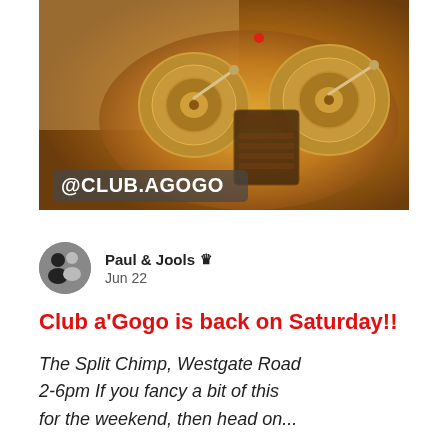[Figure (photo): Overhead view of DJ turntables and mixer equipment lit with warm golden/amber tones. The text '@CLUB.AGOGO' is overlaid in a semi-transparent grey box at the bottom-left of the image.]
Paul & Jools 👑
Jun 22
Club a'Gogo is back on Saturday!!
The Split Chimp, Westgate Road 2-6pm If you fancy a bit of this for the weekend, then head on...